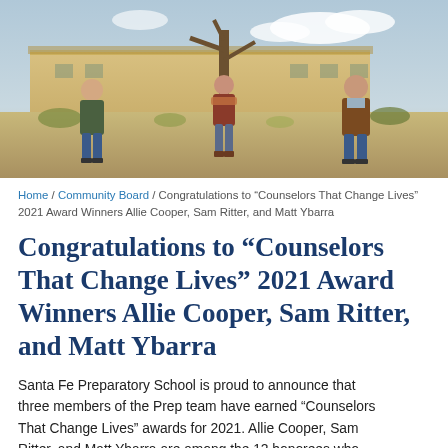[Figure (photo): Three people standing outdoors in front of a building with desert landscaping. A man in a green jacket is on the left, a woman in the center near a tree, and a man in a brown jacket on the right.]
Home / Community Board / Congratulations to “Counselors That Change Lives” 2021 Award Winners Allie Cooper, Sam Ritter, and Matt Ybarra
Congratulations to “Counselors That Change Lives” 2021 Award Winners Allie Cooper, Sam Ritter, and Matt Ybarra
Santa Fe Preparatory School is proud to announce that three members of the Prep team have earned “Counselors That Change Lives” awards for 2021. Allie Cooper, Sam Ritter, and Matt Ybarra are among the 12 honorees who work in education